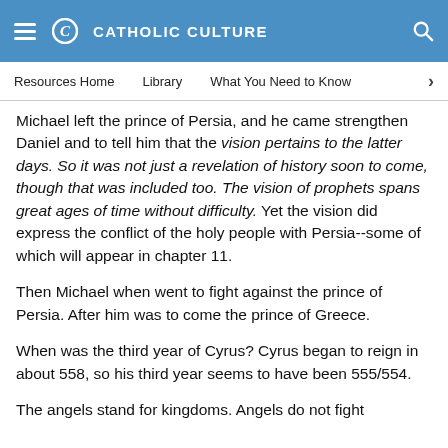CATHOLIC CULTURE
Resources Home   Library   What You Need to Know
Michael left the prince of Persia, and he came strengthen Daniel and to tell him that the vision pertains to the latter days. So it was not just a revelation of history soon to come, though that was included too. The vision of prophets spans great ages of time without difficulty. Yet the vision did express the conflict of the holy people with Persia--some of which will appear in chapter 11.
Then Michael when went to fight against the prince of Persia. After him was to come the prince of Greece.
When was the third year of Cyrus? Cyrus began to reign in about 558, so his third year seems to have been 555/554.
The angels stand for kingdoms. Angels do not fight